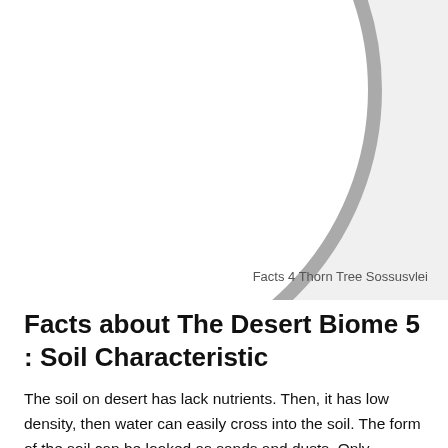[Figure (illustration): Partial view of a large circle graphic with gray border on a light gray background, with bold letters partially visible at the top. Caption reads 'Facts 4 Thorn Tree Sossusvlei'.]
Facts 4 Thorn Tree Sossusvlei
Facts about The Desert Biome 5 : Soil Characteristic
The soil on desert has lack nutrients. Then, it has low density, then water can easily cross into the soil. The form of the soil can be looked as sands and dusts. Only spesific plants which can survive into this kind of soil.